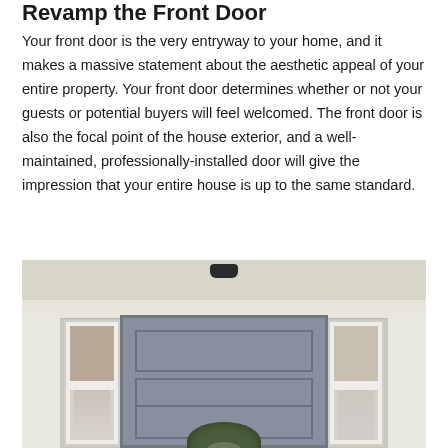Revamp the Front Door
Your front door is the very entryway to your home, and it makes a massive statement about the aesthetic appeal of your entire property. Your front door determines whether or not your guests or potential buyers will feel welcomed. The front door is also the focal point of the house exterior, and a well-maintained, professionally-installed door will give the impression that your entire house is up to the same standard.
[Figure (photo): Photograph of a house front door area showing a dark blue-grey door with a holiday wreath, flanked by side windows with white trim, viewed from outside under a porch ceiling.]